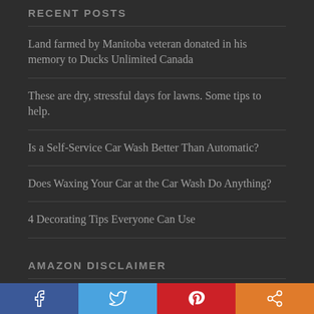RECENT POSTS
Land farmed by Manitoba veteran donated in his memory to Ducks Unlimited Canada
These are dry, stressful days for lawns. Some tips to help.
Is a Self-Service Car Wash Better Than Automatic?
Does Waxing Your Car at the Car Wash Do Anything?
4 Decorating Tips Everyone Can Use
AMAZON DISCLAIMER
RachelWhetzel.com is a participant in the Amazon Services LLC Associates Program, an affiliate advertising...